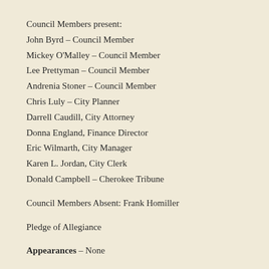Council Members present:
John Byrd – Council Member
Mickey O'Malley – Council Member
Lee Prettyman – Council Member
Andrenia Stoner – Council Member
Chris Luly – City Planner
Darrell Caudill, City Attorney
Donna England, Finance Director
Eric Wilmarth, City Manager
Karen L. Jordan, City Clerk
Donald Campbell – Cherokee Tribune
Council Members Absent: Frank Homiller
Pledge of Allegiance
Appearances – None
Announcements – City Manager Eric Wilmarth